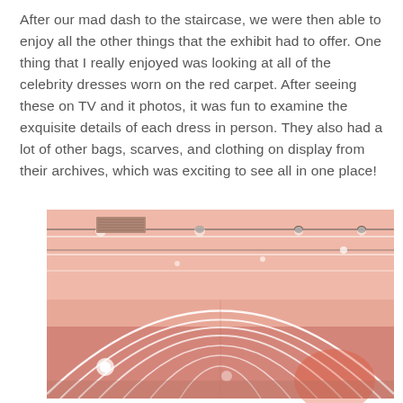After our mad dash to the staircase, we were then able to enjoy all the other things that the exhibit had to offer. One thing that I really enjoyed was looking at all of the celebrity dresses worn on the red carpet. After seeing these on TV and it photos, it was fun to examine the exquisite details of each dress in person. They also had a lot of other bags, scarves, and clothing on display from their archives, which was exciting to see all in one place!
[Figure (photo): Interior photo of a pink-walled gallery or exhibition space with curved archway-shaped neon white light strips running across the ceiling and walls, creating a series of nested arch shapes. Track lighting and spotlights are visible on the ceiling.]